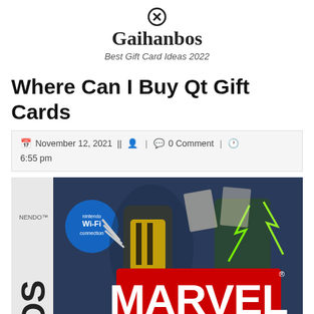Gaihanbos — Best Gift Card Ideas 2022
Where Can I Buy Qt Gift Cards
November 12, 2021 || 0 Comment | 6:55 pm
[Figure (photo): Marvel Trading Card Game Nintendo DS game box art featuring Wolverine and Doctor Doom with the Marvel logo and 'TRADING CARD GAME' text]